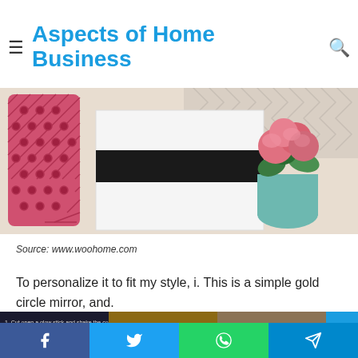Aspects of Home Business
[Figure (photo): A decorative tabletop scene featuring a pink latticed candle holder on the left, a white frame with a bold black horizontal stripe in the center, and a vase of pink peonies with green foliage on the right, all on a light surface with a chevron-patterned background.]
Source: www.woohome.com
To personalize it to fit my style, i. This is a simple gold circle mirror, and.
[Figure (photo): A strip of three partially visible images: left shows text instructions on a dark background about cutting open a glow stick and shaking contents into a jar; center shows pine cones in a bowl; right shows glass jars.]
Facebook | Twitter | WhatsApp | Telegram